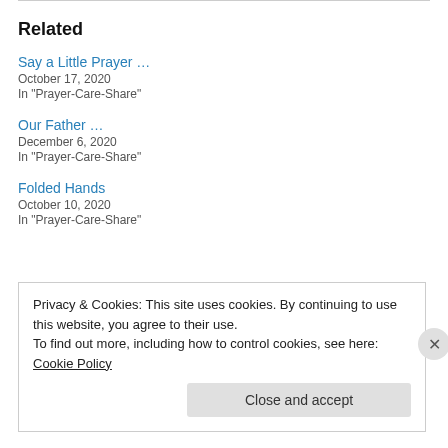Related
Say a Little Prayer …
October 17, 2020
In "Prayer-Care-Share"
Our Father …
December 6, 2020
In "Prayer-Care-Share"
Folded Hands
October 10, 2020
In "Prayer-Care-Share"
Privacy & Cookies: This site uses cookies. By continuing to use this website, you agree to their use.
To find out more, including how to control cookies, see here: Cookie Policy